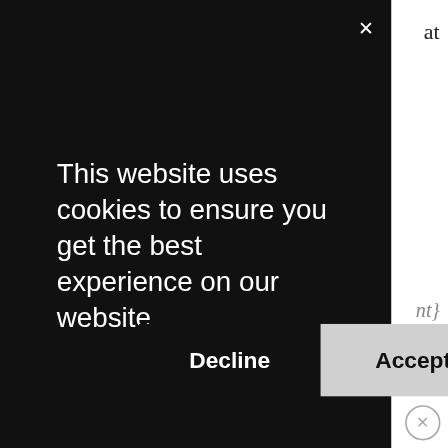[Figure (screenshot): Cookie consent modal overlay on dark background with 'X' close button. Contains text 'This website uses cookies to ensure you get the best experience on our website.' with 'Decline' and 'Accept' buttons. Background page partially visible on right side showing 'at', '{nt}', and 'load' text fragments.]
for a friend and use the coupon code above!
This giveaway ends Thursday, October 11.
Please note: The winner is chosen at random via blog comments. Entries left on Facebook or sent via email will not be counted.